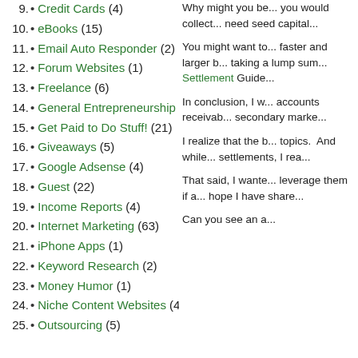9. Credit Cards (4)
10. eBooks (15)
11. Email Auto Responder (2)
12. Forum Websites (1)
13. Freelance (6)
14. General Entrepreneurship (146)
15. Get Paid to Do Stuff! (21)
16. Giveaways (5)
17. Google Adsense (4)
18. Guest (22)
19. Income Reports (4)
20. Internet Marketing (63)
21. iPhone Apps (1)
22. Keyword Research (2)
23. Money Humor (1)
24. Niche Content Websites (41)
25. Outsourcing (5)
Why might you be... you would collect... need seed capital...
You might want to... faster and larger b... taking a lump sum... Settlement Guide...
In conclusion, I w... accounts receivab... secondary marke...
I realize that the b... topics. And while... settlements, I rea...
That said, I wante... leverage them if a... hope I have share...
Can you see an a...